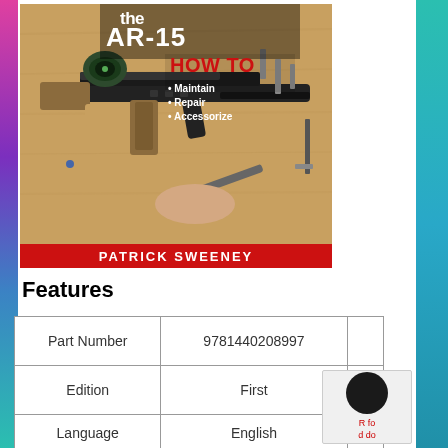[Figure (illustration): Book cover of 'the AR-15 How To Maintain, Repair, Accessorize' by Patrick Sweeney, showing disassembled AR-15 rifle parts on a wooden surface with a red bottom banner]
Features
| Part Number | 9781440208997 |  |
| --- | --- | --- |
| Part Number | 9781440208997 |  |
| Edition | First |  |
| Language | English |  |